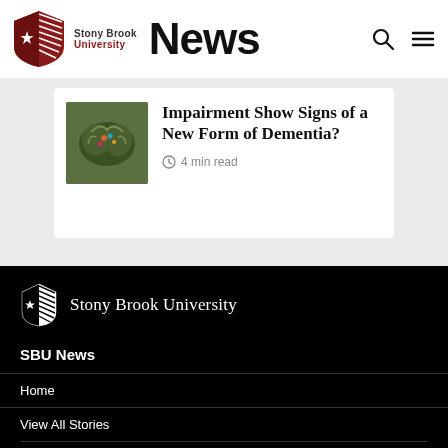Stony Brook University News
Impairment Show Signs of a New Form of Dementia?
4 min read
[Figure (logo): Stony Brook University white logo with shield and university name in white serif text on black background]
SBU News
Home
View All Stories